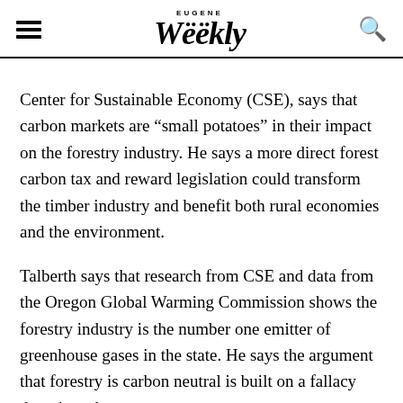EUGENE Weekly
Center for Sustainable Economy (CSE), says that carbon markets are “small potatoes” in their impact on the forestry industry. He says a more direct forest carbon tax and reward legislation could transform the timber industry and benefit both rural economies and the environment.
Talberth says that research from CSE and data from the Oregon Global Warming Commission shows the forestry industry is the number one emitter of greenhouse gases in the state. He says the argument that forestry is carbon neutral is built on a fallacy that gives the industry credit for carbon sequestration and...